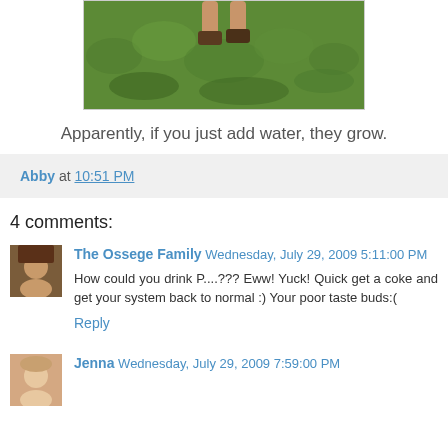[Figure (photo): Partial photo showing green grass with feet/legs visible, cropped at top]
Apparently, if you just add water, they grow.
Abby at 10:51 PM
4 comments:
The Ossege Family Wednesday, July 29, 2009 5:11:00 PM
How could you drink P....??? Eww! Yuck! Quick get a coke and get your system back to normal :) Your poor taste buds:(
Reply
Jenna Wednesday, July 29, 2009 7:59:00 PM